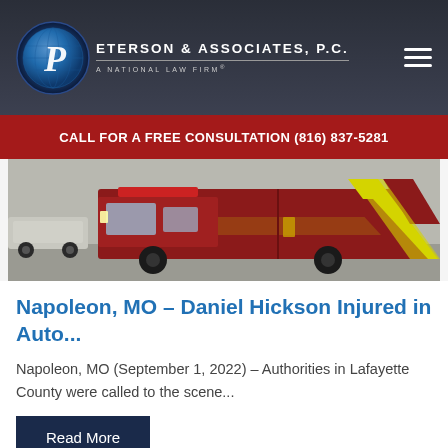Peterson & Associates, P.C. — A National Law Firm
CALL FOR A FREE CONSULTATION (816) 837-5281
[Figure (photo): Photograph of a red ambulance with yellow chevron markings viewed from the side/rear, parked on a street with vehicles visible in the background.]
Napoleon, MO – Daniel Hickson Injured in Auto...
Napoleon, MO (September 1, 2022) – Authorities in Lafayette County were called to the scene...
Read More